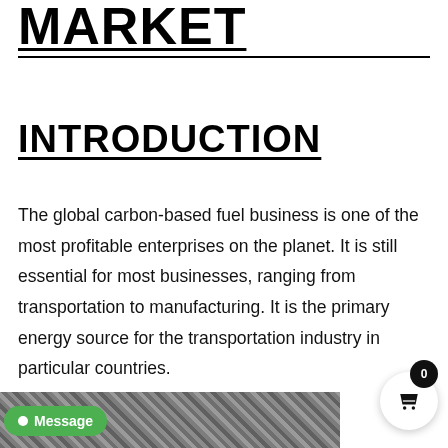MARKET
INTRODUCTION
The global carbon-based fuel business is one of the most profitable enterprises on the planet. It is still essential for most businesses, ranging from transportation to manufacturing. It is the primary energy source for the transportation industry in particular countries.
[Figure (photo): Partial view of a black and white photo strip at the bottom of the page, appears to show rocky or mineral material.]